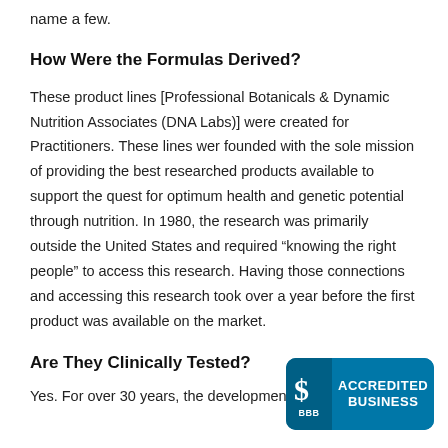name a few.
How Were the Formulas Derived?
These product lines [Professional Botanicals & Dynamic Nutrition Associates (DNA Labs)] were created for Practitioners. These lines wer founded with the sole mission of providing the best researched products available to support the quest for optimum health and genetic potential through nutrition. In 1980, the research was primarily outside the United States and required “knowing the right people” to access this research. Having those connections and accessing this research took over a year before the first product was available on the market.
Are They Clinically Tested?
Yes. For over 30 years, the development of these product
[Figure (logo): BBB Accredited Business badge with teal/blue background showing the BBB logo and text ACCREDITED BUSINESS]